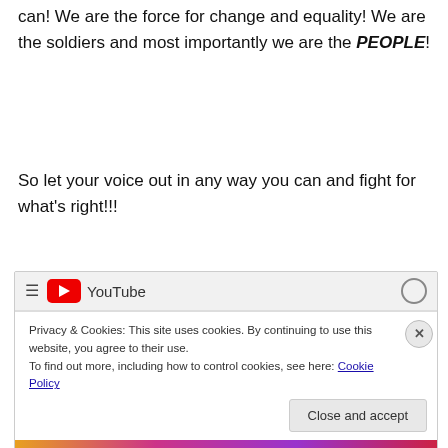can! We are the force for change and equality! We are the soldiers and most importantly we are the PEOPLE!
So let your voice out in any way you can and fight for what's right!!!
[Figure (screenshot): YouTube website header with hamburger menu, red YouTube logo and wordmark, and search icon. Below is a cookie notice overlay: 'Privacy & Cookies: This site uses cookies. By continuing to use this website, you agree to their use. To find out more, including how to control cookies, see here: Cookie Policy' with a 'Close and accept' button. A colorful thumbnail strip is visible at the bottom.]